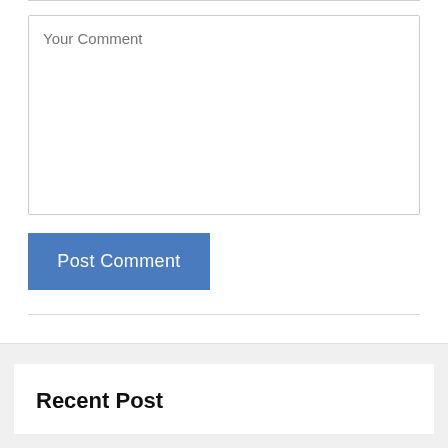Your Comment
Post Comment
Recent Post